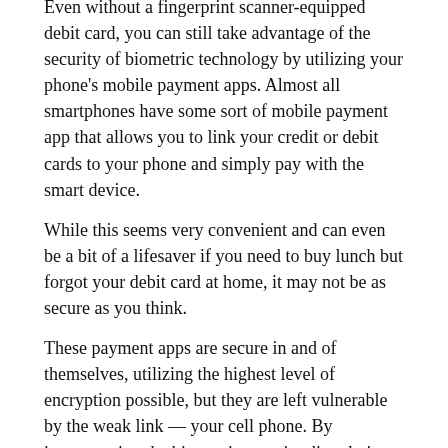Even without a fingerprint scanner-equipped debit card, you can still take advantage of the security of biometric technology by utilizing your phone's mobile payment apps. Almost all smartphones have some sort of mobile payment app that allows you to link your credit or debit cards to your phone and simply pay with the smart device.
While this seems very convenient and can even be a bit of a lifesaver if you need to buy lunch but forgot your debit card at home, it may not be as secure as you think.
These payment apps are secure in and of themselves, utilizing the highest level of encryption possible, but they are left vulnerable by the weak link — your cell phone. By incorporating the biometric security directly into the debit card, these new cards bypass the concerns about smartphone security and create a new and more secure payment network.
Demand for Biometrics
Is there even a demand for biometric enable debit and credit cards? The use of global biometric technology is expected to expand dramatically in the coming years, generating billions of dollars in revenue by 2023. There is clearly a strong consumer and